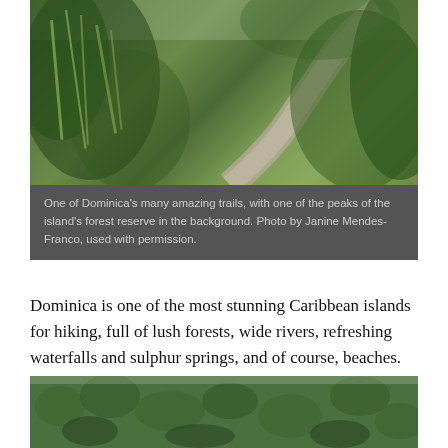[Figure (photo): A lush trail path through tall green vegetation in Dominica, with a winding dirt road and forest peaks visible in the background.]
One of Dominica's many amazing trails, with one of the peaks of the island's forest reserve in the background. Photo by Janine Mendes-Franco, used with permission.
Dominica is one of the most stunning Caribbean islands for hiking, full of lush forests, wide rivers, refreshing waterfalls and sulphur springs, and of course, beaches. The trail above, north of the capital, Roseau, is between 500-600 metres above sea level, mild compared to the difficulty level of other trails.
[Figure (photo): An aerial view of a dense tropical forest canopy covering rolling hills in Dominica.]